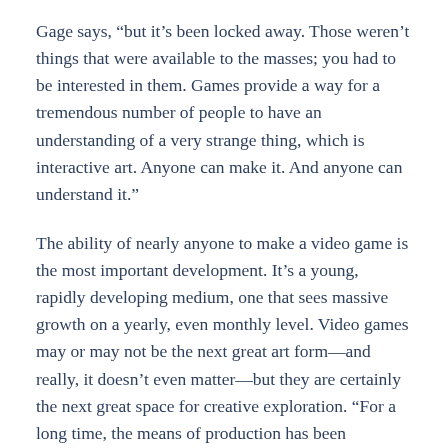Gage says, “but it’s been locked away. Those weren’t things that were available to the masses; you had to be interested in them. Games provide a way for a tremendous number of people to have an understanding of a very strange thing, which is interactive art. Anyone can make it. And anyone can understand it.”
The ability of nearly anyone to make a video game is the most important development. It’s a young, rapidly developing medium, one that sees massive growth on a yearly, even monthly level. Video games may or may not be the next great art form—and really, it doesn’t even matter—but they are certainly the next great space for creative exploration. “For a long time, the means of production has been